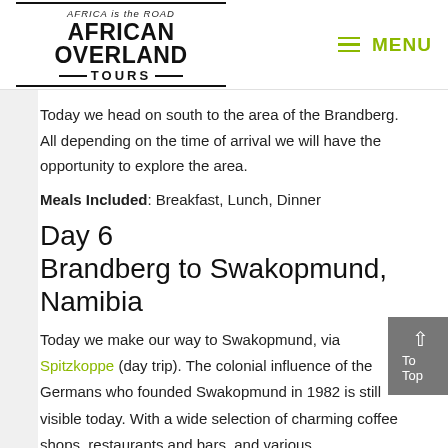AFRICA IS THE ROAD | AFRICAN OVERLAND TOURS | MENU
Today we head on south to the area of the Brandberg. All depending on the time of arrival we will have the opportunity to explore the area.
Meals Included: Breakfast, Lunch, Dinner
Day 6
Brandberg to Swakopmund, Namibia
Today we make our way to Swakopmund, via Spitzkoppe (day trip). The colonial influence of the Germans who founded Swakopmund in 1982 is still visible today. With a wide selection of charming coffee shops, restaurants and bars, and various